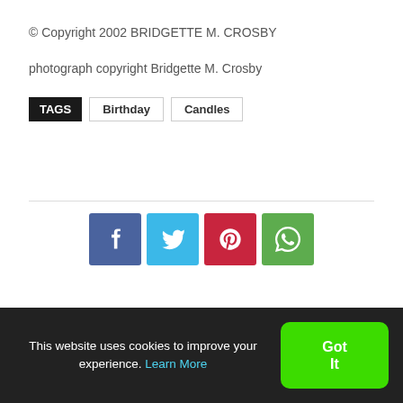© Copyright 2002 BRIDGETTE M. CROSBY
photograph copyright Bridgette M. Crosby
TAGS  Birthday  Candles
[Figure (infographic): Social share buttons: Facebook (blue), Twitter (light blue), Pinterest (red), WhatsApp (green)]
Previous article
Make Your Own Beeswax
Next article
DIY – Make a Candle!
This website uses cookies to improve your experience. Learn More
Got It